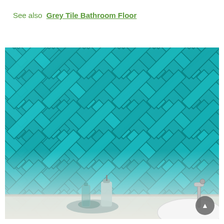See also  Grey Tile Bathroom Floor
[Figure (photo): Teal/turquoise herringbone patterned ceramic tiles on a bathroom wall, with bathroom accessories (soap dispenser, lotion bottle, soap dish on a tray) and a chrome faucet with white basin visible at the bottom foreground.]